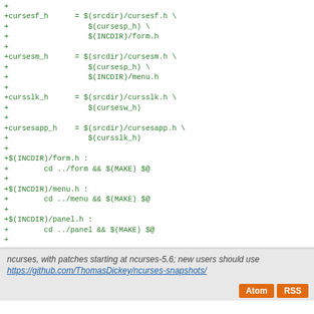+
+cursesf_h      = $(srcdir)/cursesf.h \
+                  $(cursesp_h) \
+                  $(INCDIR)/form.h
+
+cursesm_h      = $(srcdir)/cursesm.h \
+                  $(cursesp_h) \
+                  $(INCDIR)/menu.h
+
+cursslk_h      = $(srcdir)/cursslk.h \
+                  $(cursesw_h)
+
+cursesapp_h    = $(srcdir)/cursesapp.h \
+                  $(cursslk_h)
+
+$(INCDIR)/form.h :
+        cd ../form && $(MAKE) $@
+
+$(INCDIR)/menu.h :
+        cd ../menu && $(MAKE) $@
+
+$(INCDIR)/panel.h :
+        cd ../panel && $(MAKE) $@
+
 ######################################################
 # The remainder of this file is automatically generated dur
 ######################################################
ncurses, with patches starting at ncurses-5.6; new users should use
https://github.com/ThomasDickey/ncurses-snapshots/
Atom  RSS